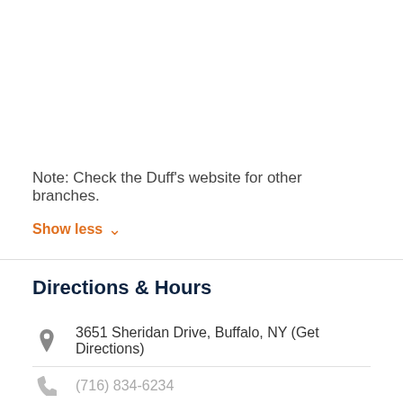Note: Check the Duff’s website for other branches.
Show less ∨
Directions & Hours
3651 Sheridan Drive, Buffalo, NY (Get Directions)
(716) 834-6234
Visit Their Website